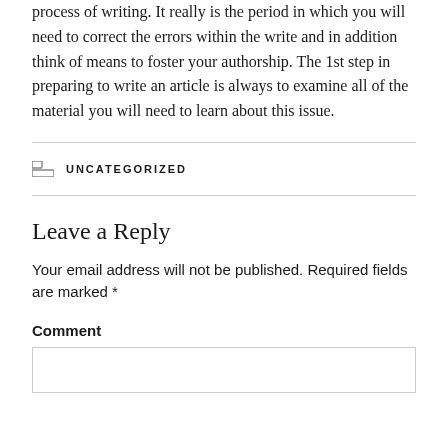process of writing. It really is the period in which you will need to correct the errors within the write and in addition think of means to foster your authorship. The 1st step in preparing to write an article is always to examine all of the material you will need to learn about this issue.
CATEGORIES UNCATEGORIZED
Leave a Reply
Your email address will not be published. Required fields are marked *
Comment